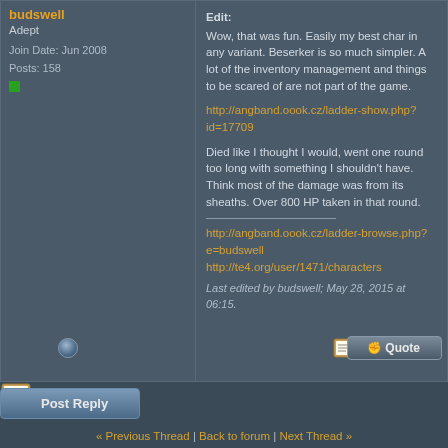budswell
Adept
Join Date: Jun 2008
Posts: 158
Edit:
Wow, that was fun. Easily my best char in any variant. Beserker is so much simpler. A lot of the inventory management and things to be scared of are not part of the game.
http://angband.oook.cz/ladder-show.php?id=17709

Died like I thought I would, went one round too long with something I shouldn't have. Think most of the damage was from its sheaths. Over 800 HP taken in that round.

http://angband.oook.cz/ladder-browse.php?e=budswell
http://te4.org/user/1471/characters

Last edited by budswell; May 28, 2015 at 06:15.
« Previous Thread | Back to forum | Next Thread »